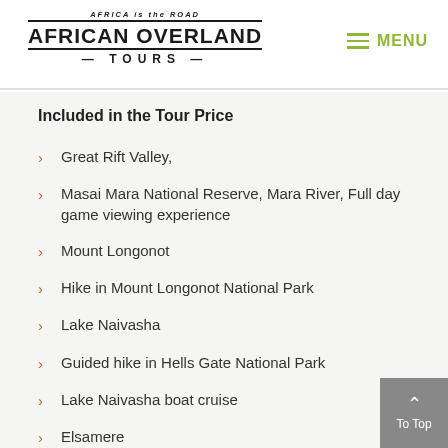AFRICA is the ROAD | AFRICAN OVERLAND TOURS | MENU
Included in the Tour Price
Great Rift Valley,
Masai Mara National Reserve, Mara River, Full day game viewing experience
Mount Longonot
Hike in Mount Longonot National Park
Lake Naivasha
Guided hike in Hells Gate National Park
Lake Naivasha boat cruise
Elsamere